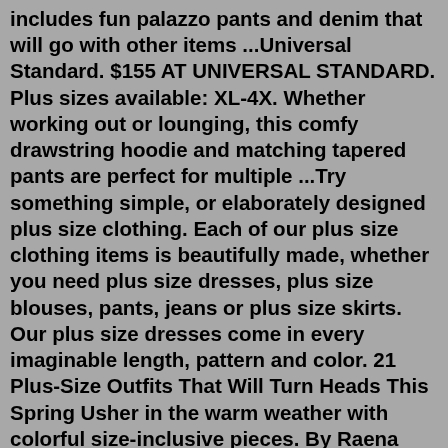includes fun palazzo pants and denim that will go with other items ...Universal Standard. $155 AT UNIVERSAL STANDARD. Plus sizes available: XL-4X. Whether working out or lounging, this comfy drawstring hoodie and matching tapered pants are perfect for multiple ...Try something simple, or elaborately designed plus size clothing. Each of our plus size clothing items is beautifully made, whether you need plus size dresses, plus size blouses, pants, jeans or plus size skirts. Our plus size dresses come in every imaginable length, pattern and color. 21 Plus-Size Outfits That Will Turn Heads This Spring Usher in the warm weather with colorful size-inclusive pieces. By Raena Loper, Good Housekeeping Institute Mar 8, 2022 11honore, goodamerican...Amazon Prime Day 2022: Best Plus-Size Fashion Deals on Levi's, Floerns and More By Kyley Warren 6:19 AM PDT, June 26, 2022 Each product has been independently selected by our editorial team.Enter linen shirts, flowy vests, and lightweight summer jackets. Linen